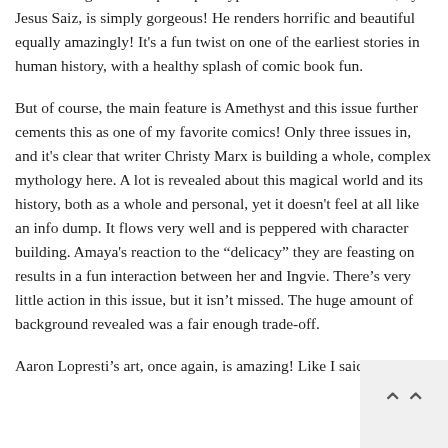tale as being set in the post-apocalyptic DC Universe.  The art, by Jesus Saiz, is simply gorgeous!  He renders horrific and beautiful equally amazingly!  It's a fun twist on one of the earliest stories in human history, with a healthy splash of comic book fun.
But of course, the main feature is Amethyst and this issue further cements this as one of my favorite comics!  Only three issues in, and it's clear that writer Christy Marx is building a whole, complex mythology here.  A lot is revealed about this magical world and its history, both as a whole and personal, yet it doesn't feel at all like an info dump.  It flows very well and is peppered with character building.  Amaya's reaction to the “delicacy” they are feasting on results in a fun interaction between her and Ingvie.  There's very little action in this issue, but it isn't missed.  The huge amount of background revealed was a fair enough trade-off.
Aaron Lopresti's art, once again, is amazing!  Like I said,